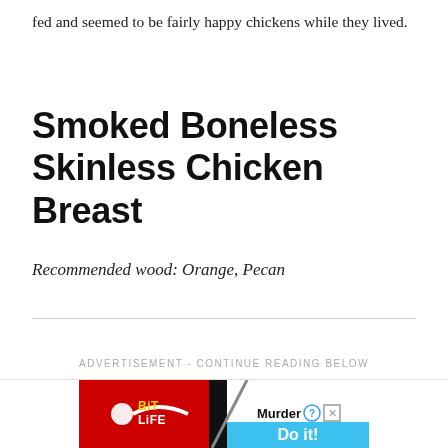fed and seemed to be fairly happy chickens while they lived.
Smoked Boneless Skinless Chicken Breast
Recommended wood: Orange, Pecan
ADVERTISEMENT - CONTINUE READING BELOW
[Figure (other): BitLife advertisement banner with red background, logo on left, and 'Murder Do it!' text on right with blue button]